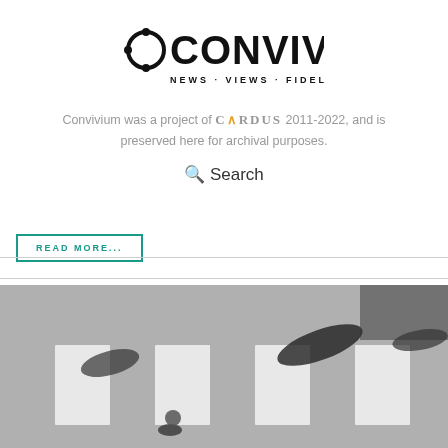[Figure (logo): Convivium logo: circular icon with dots and bold text CONVIVIUM, tagline NEWS · VIEWS · FIDELITY]
Convivium was a project of CARDUS 2011-2022, and is preserved here for archival purposes.
Search
[Figure (photo): Black and white overhead photo of a pedestrian crosswalk with shadows of people crossing]